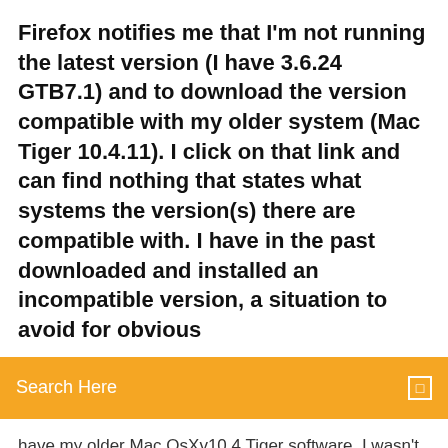Firefox notifies me that I'm not running the latest version (I have 3.6.24 GTB7.1) and to download the version compatible with my older system (Mac Tiger 10.4.11). I click on that link and can find nothing that states what systems the version(s) there are compatible with. I have in the past downloaded and installed an incompatible version, a situation to avoid for obvious
[Figure (other): Orange search bar with text 'Search Here' and a small square icon on the right]
have my older Mac OsXv10.4 Tiger software. I wasn't exactly happy with Safari browser as it would block many sites andI cannot install flash version 10.1.0 onto a mac 10.4.11 and therefore cannot use YouTube or the BBCIplayer. Télécharger Zip it for mac 10 4 gratuit -... The trial version of 321soft usb flash recovery for mac allows you to scan and preview all recoverable files be for e purchase [...] recover deleted/lost photo video and files from from usb and memory card , preview files be for e recovery / if your files were lost unintentionally